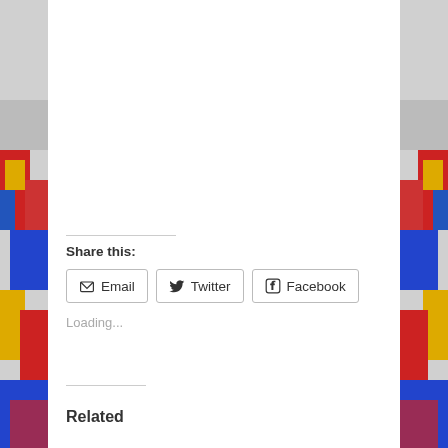[Figure (illustration): Colorful decorative artwork visible on the left and right edges of the page, partially obscured by white content area in the center. The artwork appears to be a vibrant street art or mural style illustration with red, blue, yellow, and other colors.]
Share this:
Email
Twitter
Facebook
Loading...
Related